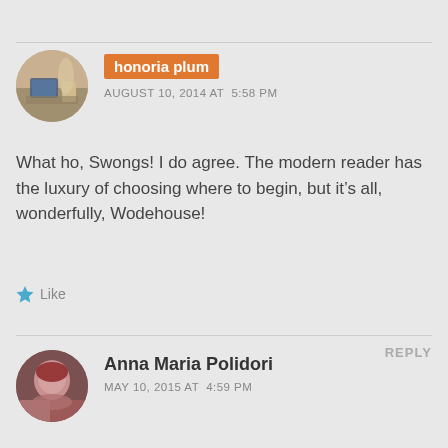honoria plum
AUGUST 10, 2014 AT 5:58 PM
What ho, Swongs! I do agree. The modern reader has the luxury of choosing where to begin, but it’s all, wonderfully, Wodehouse!
Like
REPLY
Anna Maria Polidori
MAY 10, 2015 AT 4:59 PM